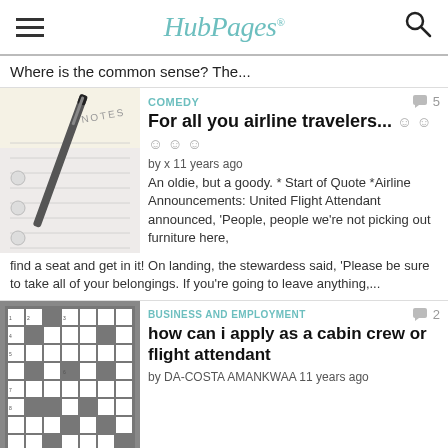HubPages
Where is the common sense? The...
[Figure (photo): Notebook with pen on a lined notes page]
COMEDY
For all you airline travelers...
by x 11 years ago
An oldie, but a goody. * Start of Quote *Airline Announcements: United Flight Attendant announced, 'People, people we're not picking out furniture here, find a seat and get in it! On landing, the stewardess said, 'Please be sure to take all of your belongings. If you're going to leave anything,...
[Figure (photo): Crossword puzzle close-up in black and white]
BUSINESS AND EMPLOYMENT
how can i apply as a cabin crew or flight attendant
by DA-COSTA AMANKWAA 11 years ago